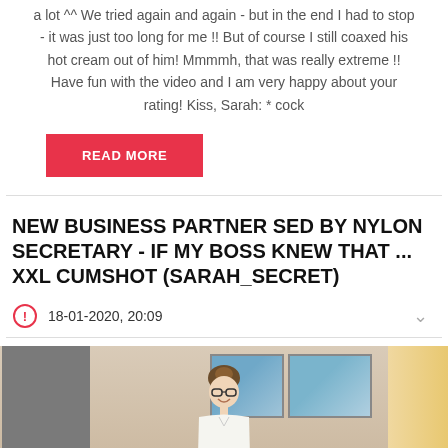a lot ^^ We tried again and again - but in the end I had to stop - it was just too long for me !! But of course I still coaxed his hot cream out of him! Mmmmh, that was really extreme !! Have fun with the video and I am very happy about your rating! Kiss, Sarah: * cock
READ MORE
NEW BUSINESS PARTNER SED BY NYLON SECRETARY - IF MY BOSS KNEW THAT ... XXL CUMSHOT (SARAH_SECRET)
18-01-2020, 20:09
[Figure (photo): A young woman with glasses and hair in a bun, sitting at a table in a room with paintings on the wall and a curtain visible on the right.]